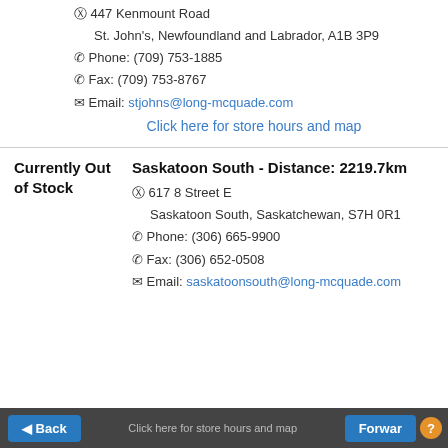📍 447 Kenmount Road St. John's, Newfoundland and Labrador, A1B 3P9 📞 Phone: (709) 753-1885 📠 Fax: (709) 753-8767 ✉ Email: stjohns@long-mcquade.com
Click here for store hours and map
Currently Out of Stock
Saskatoon South - Distance: 2219.7km 📍 617 8 Street E Saskatoon South, Saskatchewan, S7H 0R1 📞 Phone: (306) 665-9900 📠 Fax: (306) 652-0508 ✉ Email: saskatoonsouth@long-mcquade.com
Back | Click here for store hours and map | Forward